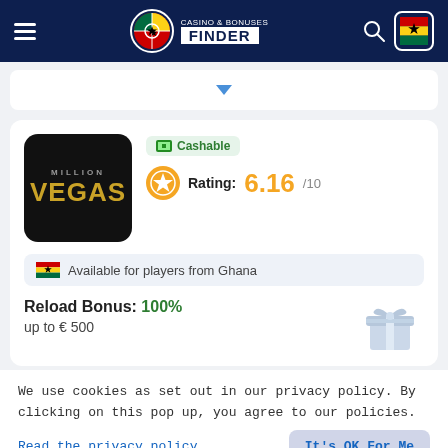Casino & Bonuses Finder
[Figure (screenshot): Dropdown bar with blue downward arrow]
[Figure (logo): Million Vegas casino logo - black rounded square with gold VEGAS text]
Cashable
Rating: 6.16/10
Available for players from Ghana
Reload Bonus: 100% up to € 500
We use cookies as set out in our privacy policy. By clicking on this pop up, you agree to our policies.
Read the privacy policy
It's OK For Me